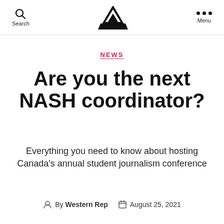Search | [logo] | Menu
NEWS
Are you the next NASH coordinator?
Everything you need to know about hosting Canada's annual student journalism conference
By Western Rep  August 25, 2021